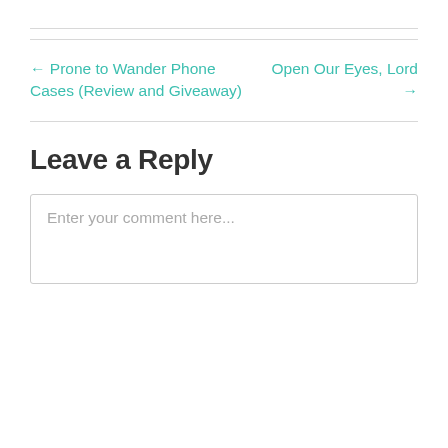← Prone to Wander Phone Cases (Review and Giveaway)
Open Our Eyes, Lord →
Leave a Reply
Enter your comment here...